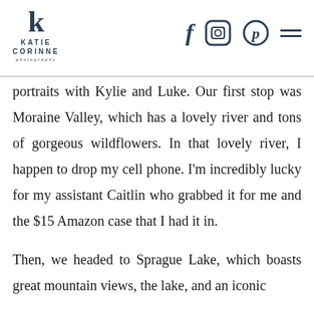KATIE CORINNE photography
portraits with Kylie and Luke. Our first stop was Moraine Valley, which has a lovely river and tons of gorgeous wildflowers. In that lovely river, I happen to drop my cell phone. I'm incredibly lucky for my assistant Caitlin who grabbed it for me and the $15 Amazon case that I had it in.
Then, we headed to Sprague Lake, which boasts great mountain views, the lake, and an iconic